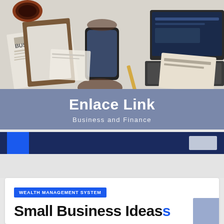[Figure (photo): Overhead view of business workspace with person holding smartphone, newspaper with BUSINESS headline, laptop, calculator, and documents on a light surface]
Enlace Link
Business and Finance
[Figure (other): Dark navy navigation bar with blue square icon on left and light grey search box element]
WEALTH MANAGEMENT SYSTEM
Small Business Ideas And...